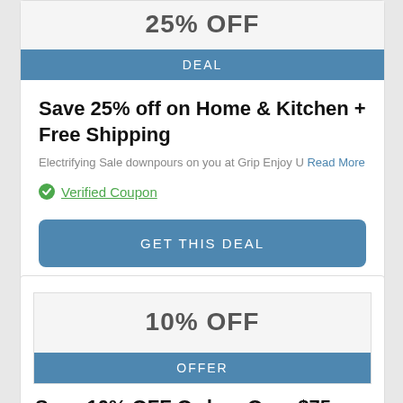25% OFF
DEAL
Save 25% off on Home & Kitchen + Free Shipping
Electrifying Sale downpours on you at Grip Enjoy U
Read More
Verified Coupon
GET THIS DEAL
10% OFF
OFFER
Save 10% OFF Orders Over $75...